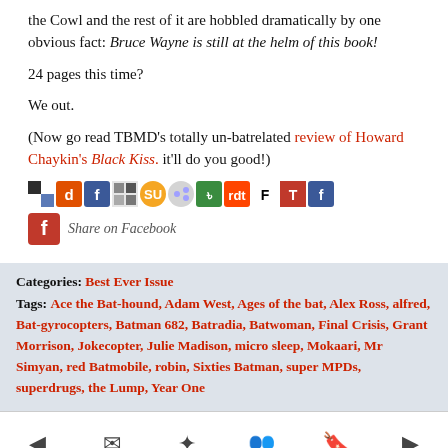the Cowl and the rest of it are hobbled dramatically by one obvious fact: Bruce Wayne is still at the helm of this book!
24 pages this time?
We out.
(Now go read TBMD's totally un-batrelated review of Howard Chaykin's Black Kiss. it'll do you good!)
[Figure (other): Row of social sharing icons]
[Figure (other): Facebook share button with text 'Share on Facebook']
Categories: Best Ever Issue
Tags: Ace the Bat-hound, Adam West, Ages of the bat, Alex Ross, alfred, Bat-gyrocopters, Batman 682, Batradia, Batwoman, Final Crisis, Grant Morrison, Jokecopter, Julie Madison, micro sleep, Mokaari, Mr Simyan, red Batmobile, robin, Sixties Batman, super MPDs, superdrugs, the Lump, Year One
[Figure (other): Navigation bar with previous, email, twitter, people, bookmark, next icons]
▶ 41 Responses